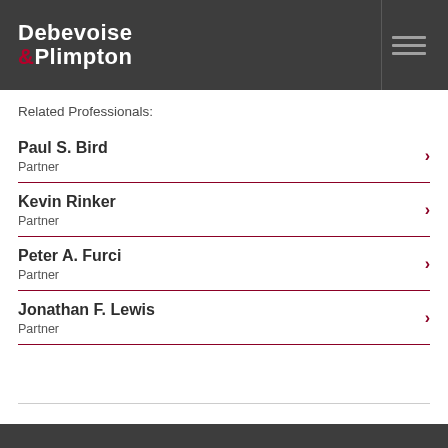Debevoise & Plimpton
Related Professionals:
Paul S. Bird
Partner
Kevin Rinker
Partner
Peter A. Furci
Partner
Jonathan F. Lewis
Partner